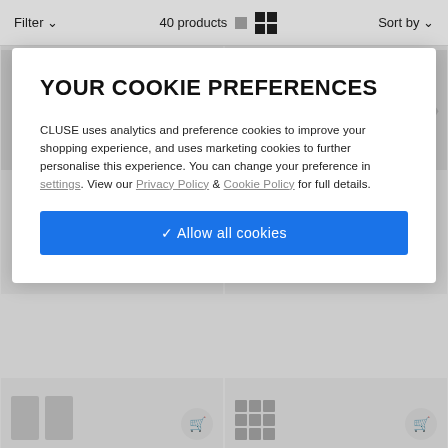Filter   40 products   Sort by
16 mm - CS1408101084
Strap 16 mm Leather Green, Rose Gold Colour
16 mm - CS1408101026
Strap 16 mm Leather Pink, Rose Gold Colour
YOUR COOKIE PREFERENCES
CLUSE uses analytics and preference cookies to improve your shopping experience, and uses marketing cookies to further personalise this experience. You can change your preference in settings. View our Privacy Policy & Cookie Policy for full details.
✓ Allow all cookies